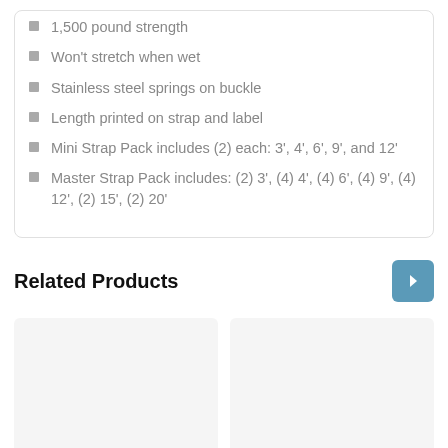1,500 pound strength
Won't stretch when wet
Stainless steel springs on buckle
Length printed on strap and label
Mini Strap Pack includes (2) each: 3', 4', 6', 9', and 12'
Master Strap Pack includes: (2) 3', (4) 4', (4) 6', (4) 9', (4) 12', (2) 15', (2) 20'
Related Products
[Figure (other): Related product placeholder cards (two empty grey boxes)]